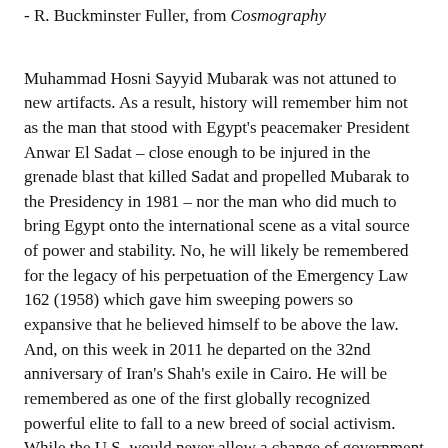- R. Buckminster Fuller, from Cosmography
Muhammad Hosni Sayyid Mubarak was not attuned to new artifacts. As a result, history will remember him not as the man that stood with Egypt's peacemaker President Anwar El Sadat – close enough to be injured in the grenade blast that killed Sadat and propelled Mubarak to the Presidency in 1981 – nor the man who did much to bring Egypt onto the international scene as a vital source of power and stability. No, he will likely be remembered for the legacy of his perpetuation of the Emergency Law 162 (1958) which gave him sweeping powers so expansive that he believed himself to be above the law. And, on this week in 2011 he departed on the 32nd anniversary of Iran's Shah's exile in Cairo. He will be remembered as one of the first globally recognized powerful elite to fall to a new breed of social activism. While the U.S. would never allow a change of government like the one that we just witnessed in Egypt to take place in Washington D.C. without far greater human rights abuses and loss of life. I wonder if leaders across the globe took this